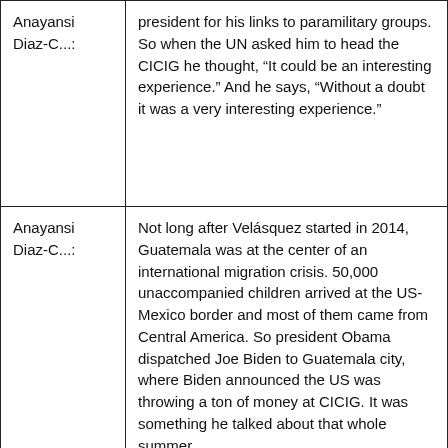| Speaker | Content |
| --- | --- |
| Anayansi Diaz-C...: | president for his links to paramilitary groups. So when the UN asked him to head the CICIG he thought, “It could be an interesting experience.” And he says, “Without a doubt it was a very interesting experience.” |
| Anayansi Diaz-C...: | Not long after Velásquez started in 2014, Guatemala was at the center of an international migration crisis. 50,000 unaccompanied children arrived at the US-Mexico border and most of them came from Central America. So president Obama dispatched Joe Biden to Guatemala city, where Biden announced the US was throwing a ton of money at CICIG. It was something he talked about that whole summer. |